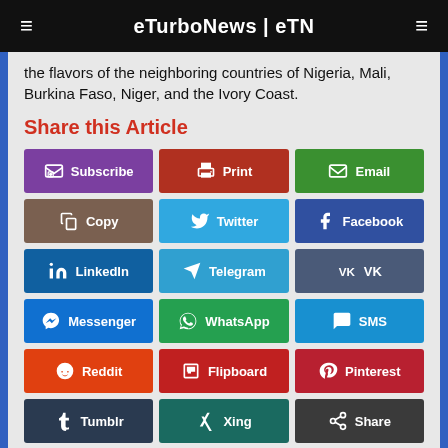eTurboNews | eTN
the flavors of the neighboring countries of Nigeria, Mali, Burkina Faso, Niger, and the Ivory Coast.
Share this Article
Subscribe
Print
Email
Copy
Twitter
Facebook
LinkedIn
Telegram
VK
Messenger
WhatsApp
SMS
Reddit
Flipboard
Pinterest
Tumblr
Xing
Share